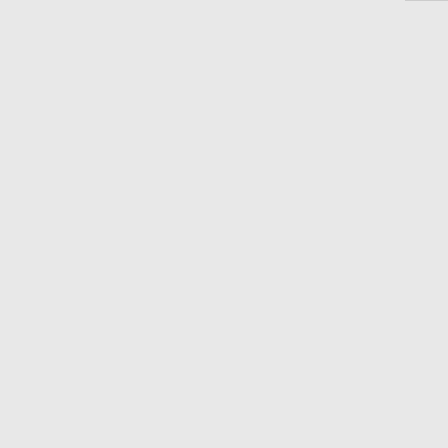| Number | State | Name | Code | Extra |
| --- | --- | --- | --- | --- |
| 510-590-0 | CA | NEW CINGULAR WIRELESS PCS, LLC (AT&T Wireless) |  |  |
| 510-590-1 | CA | NEW CINGULAR WIRELESS PCS, LLC (AT&T Wireless) | 6010 |  |
| 510-590- | CA | NEW CINGULAR WIRELESS PCS, LLC | 6010 |  |